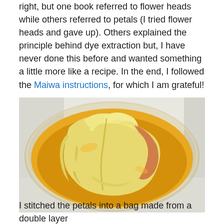right, but one book referred to flower heads while others referred to petals (I tried flower heads and gave up). Others explained the principle behind dye extraction but, I have never done this before and wanted something a little more like a recipe. In the end, I followed the Maiwa instructions, for which I am grateful!
[Figure (photo): Photo of folded yellow fabric soaking in a golden-orange dye liquid inside a clear glass bowl, viewed from above.]
I stitched the petals into a bag made from a double layer